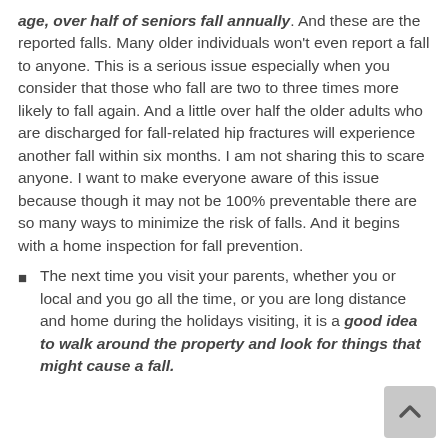age, over half of seniors fall annually. And these are the reported falls. Many older individuals won't even report a fall to anyone. This is a serious issue especially when you consider that those who fall are two to three times more likely to fall again. And a little over half the older adults who are discharged for fall-related hip fractures will experience another fall within six months. I am not sharing this to scare anyone. I want to make everyone aware of this issue because though it may not be 100% preventable there are so many ways to minimize the risk of falls. And it begins with a home inspection for fall prevention.
The next time you visit your parents, whether you or local and you go all the time, or you are long distance and home during the holidays visiting, it is a good idea to walk around the property and look for things that might cause a fall.